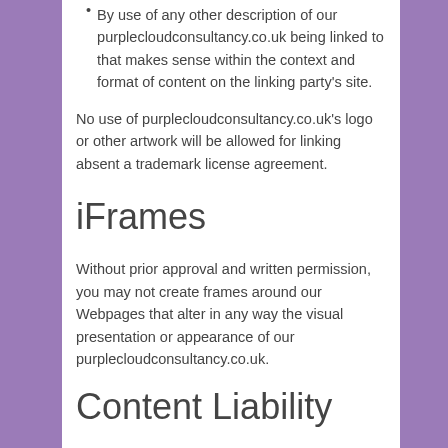By use of any other description of our purplecloudconsultancy.co.uk being linked to that makes sense within the context and format of content on the linking party's site.
No use of purplecloudconsultancy.co.uk's logo or other artwork will be allowed for linking absent a trademark license agreement.
iFrames
Without prior approval and written permission, you may not create frames around our Webpages that alter in any way the visual presentation or appearance of our purplecloudconsultancy.co.uk.
Content Liability
We shall not be hold responsible for any content that appears on your purplecloudconsultancy.co.uk. You agree to protect